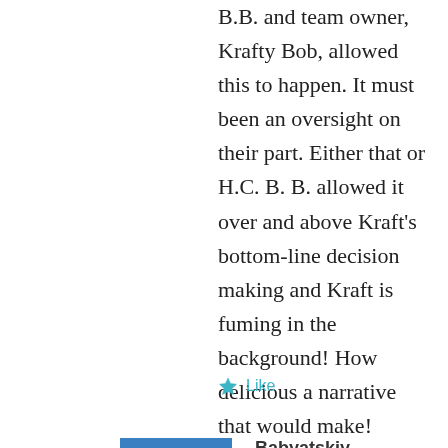B.B. and team owner, Krafty Bob, allowed this to happen. It must been an oversight on their part. Either that or H.C. B. B. allowed it over and above Kraft's bottom-line decision making and Kraft is fuming in the background! How delicious a narrative that would make!
Like
Babyatskiy
DECEMBER 28, 2014 AT 7:48 PM
Here's another, via the also great, Kevin Duffy: Vince Wilfork plays into 2nd half, earns $1.25 million in